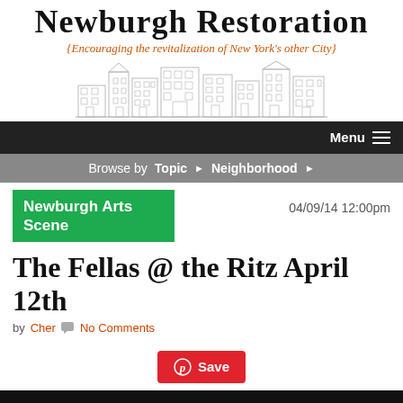Newburgh Restoration
{Encouraging the revitalization of New York's other City}
[Figure (illustration): Line drawing illustration of historic Newburgh city buildings/townhouses in a row]
Menu
Browse by  Topic ▶  Neighborhood ▶
Newburgh Arts Scene
04/09/14 12:00pm
The Fellas @ the Ritz April 12th
by Cher  💬 No Comments
⓿ Save